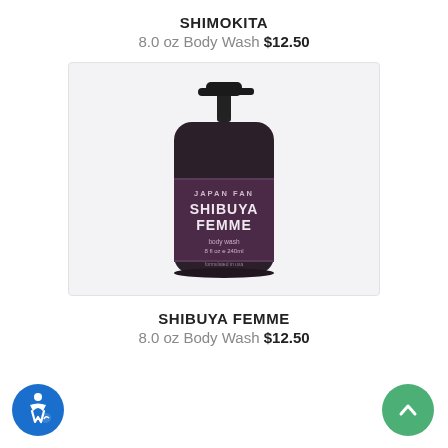SHIMOKITA
8.0 oz Body Wash $12.50
[Figure (photo): A dark pump bottle of Japan Fan Shibuya Femme body wash, 8 fl oz / 240ml, with a black pump cap and a dark purple label.]
SHIBUYA FEMME
8.0 oz Body Wash $12.50